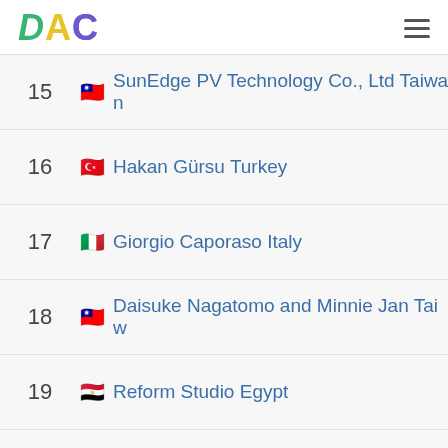DAC
15 🇹🇼 SunEdge PV Technology Co., Ltd Taiwan
16 🇹🇷 Hakan Gürsu Turkey
17 🇮🇹 Giorgio Caporaso Italy
18 🇹🇼 Daisuke Nagatomo and Minnie Jan Taiwan
19 🇪🇬 Reform Studio Egypt
20 🇬🇧 HJC Design Great Britain
21 🇲🇽 Juan Carlos Baumgartner Mexico